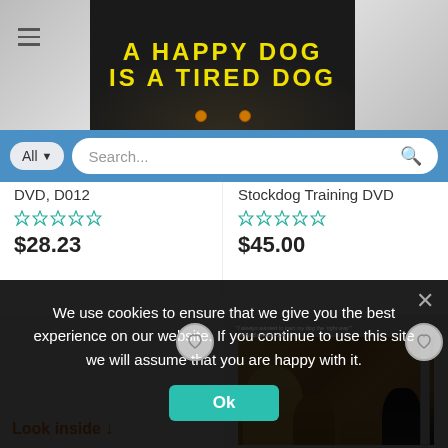[Figure (screenshot): Website header banner with hamburger menu icon on the left, dog image with text 'A HAPPY DOG IS A TIRED DOG' in yellow on dark background in the center, and dog image on the right]
[Figure (screenshot): Search bar with 'All' dropdown button and search input field with placeholder text 'Search...' and magnifying glass icon on blue background]
DVD, D012
[Figure (other): 5-star rating (empty stars, teal outline)]
$28.23
Stockdog Training DVD
[Figure (other): 5-star rating (empty stars, teal outline)]
$45.00
[Figure (photo): Product listing area with heart/wishlist button and 'Look inside' link]
[Figure (photo): Book cover showing multiple dogs (golden retriever, beagle, dachshund, rottweiler) with small text quote at top and heart/wishlist button]
We use cookies to ensure that we give you the best experience on our website. If you continue to use this site we will assume that you are happy with it.
Ok